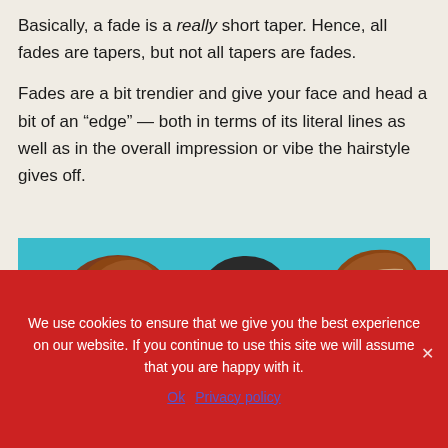Basically, a fade is a really short taper. Hence, all fades are tapers, but not all tapers are fades.
Fades are a bit trendier and give your face and head a bit of an “edge” — both in terms of its literal lines as well as in the overall impression or vibe the hairstyle gives off.
[Figure (illustration): Illustration of three men's heads showing different fade hairstyle cuts against a teal/blue background: left profile with pompadour fade, front-facing with high fade, right profile with side-parted fade.]
We use cookies to ensure that we give you the best experience on our website. If you continue to use this site we will assume that you are happy with it.
Ok   Privacy policy